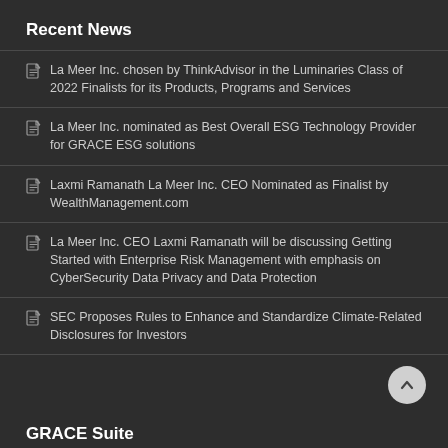Recent News
La Meer Inc. chosen by ThinkAdvisor in the Luminaries Class of 2022 Finalists for its Products, Programs and Services
La Meer Inc. nominated as Best Overall ESG Technology Provider for GRACE ESG solutions
Laxmi Ramanath La Meer Inc. CEO Nominated as Finalist by WealthManagement.com
La Meer Inc. CEO Laxmi Ramanath will be discussing Getting Started with Enterprise Risk Management with emphasis on CyberSecurity Data Privacy and Data Protection
SEC Proposes Rules to Enhance and Standardize Climate-Related Disclosures for Investors
GRACE Suite